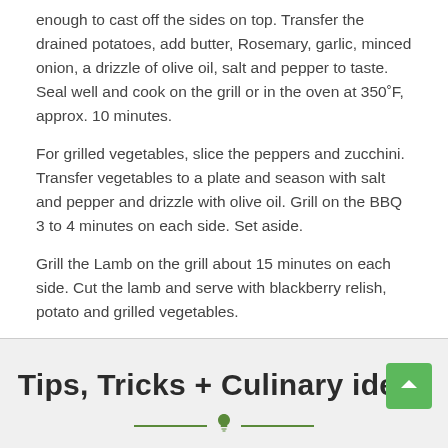enough to cast off the sides on top. Transfer the drained potatoes, add butter, Rosemary, garlic, minced onion, a drizzle of olive oil, salt and pepper to taste. Seal well and cook on the grill or in the oven at 350˚F, approx. 10 minutes.
For grilled vegetables, slice the peppers and zucchini. Transfer vegetables to a plate and season with salt and pepper and drizzle with olive oil. Grill on the BBQ 3 to 4 minutes on each side. Set aside.
Grill the Lamb on the grill about 15 minutes on each side. Cut the lamb and serve with blackberry relish, potato and grilled vegetables.
Tips, Tricks + Culinary ideas